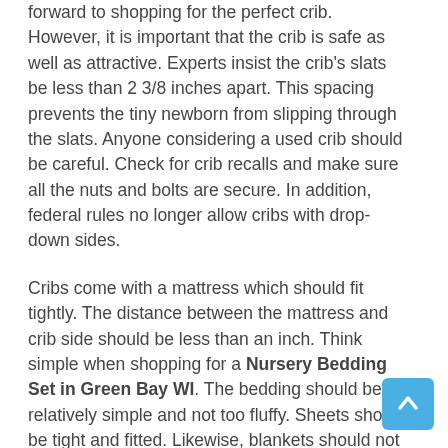forward to shopping for the perfect crib. However, it is important that the crib is safe as well as attractive. Experts insist the crib's slats be less than 2 3/8 inches apart. This spacing prevents the tiny newborn from slipping through the slats. Anyone considering a used crib should be careful. Check for crib recalls and make sure all the nuts and bolts are secure. In addition, federal rules no longer allow cribs with drop-down sides.
Cribs come with a mattress which should fit tightly. The distance between the mattress and crib side should be less than an inch. Think simple when shopping for a Nursery Bedding Set in Green Bay WI. The bedding should be relatively simple and not too fluffy. Sheets should be tight and fitted. Likewise, blankets should not be too thick. Indeed,